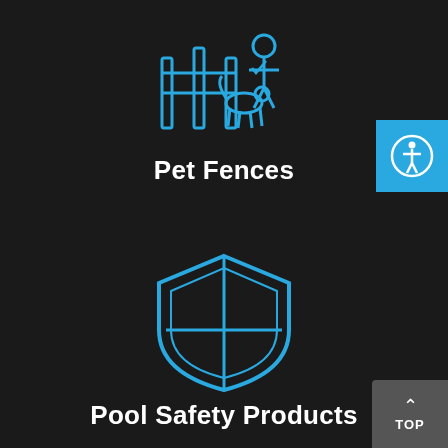[Figure (illustration): Blue outline icon of a person and a dog with fencing, on dark background]
Pet Fences
[Figure (illustration): Blue outline shield icon divided into four quadrants, on dark background]
Pool Safety Products
[Figure (illustration): Accessibility icon (person with circle) in blue square, top-right corner]
[Figure (illustration): Dark grey TOP button with upward chevron arrow, bottom-right corner]